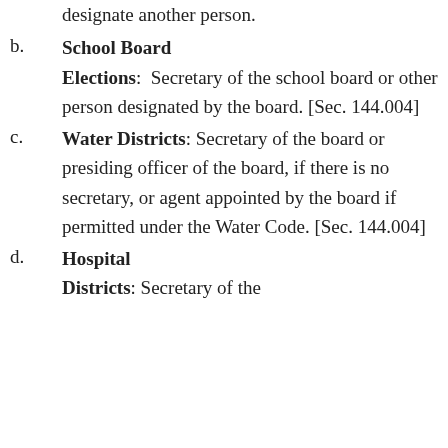designate another person.
b. School Board Elections: Secretary of the school board or other person designated by the board. [Sec. 144.004]
c. Water Districts: Secretary of the board or presiding officer of the board, if there is no secretary, or agent appointed by the board if permitted under the Water Code. [Sec. 144.004]
d. Hospital Districts: Secretary of the